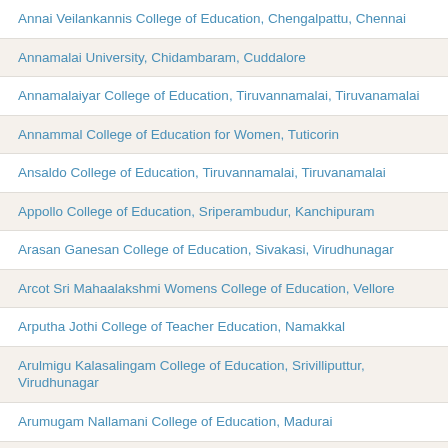Annai Veilankannis College of Education, Chengalpattu, Chennai
Annamalai University, Chidambaram, Cuddalore
Annamalaiyar College of Education, Tiruvannamalai, Tiruvanamalai
Annammal College of Education for Women, Tuticorin
Ansaldo College of Education, Tiruvannamalai, Tiruvanamalai
Appollo College of Education, Sriperambudur, Kanchipuram
Arasan Ganesan College of Education, Sivakasi, Virudhunagar
Arcot Sri Mahaalakshmi Womens College of Education, Vellore
Arputha Jothi College of Teacher Education, Namakkal
Arulmigu Kalasalingam College of Education, Srivilliputtur, Virudhunagar
Arumugam Nallamani College of Education, Madurai
Arumugam Pillai Seethai Ammal College of Education, Tirupattur, Sivagangai
Arce College of Education, Vellore, Thanjavur